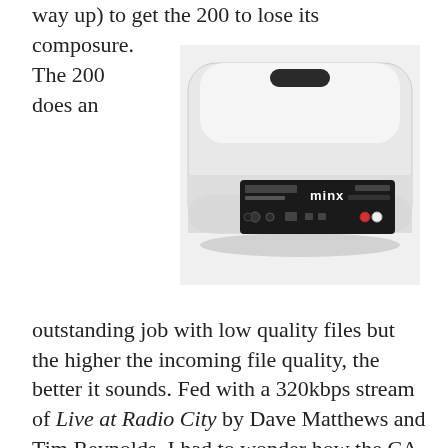way up) to get the 200 to lose its composure.
[Figure (photo): Rear view of a white Cambridge Audio Minx 200 speaker dock/wireless speaker showing connectivity ports and Minx logo on a black label panel.]
The 200 does an outstanding job with low quality files but the higher the incoming file quality, the better it sounds. Fed with a 320kbps stream of Live at Radio City by Dave Matthews and Tim Reynolds, I had to wonder how the CA engineers pulled off the trick of making this unit sound this good at the price. Reynolds' guitar notes on 'The